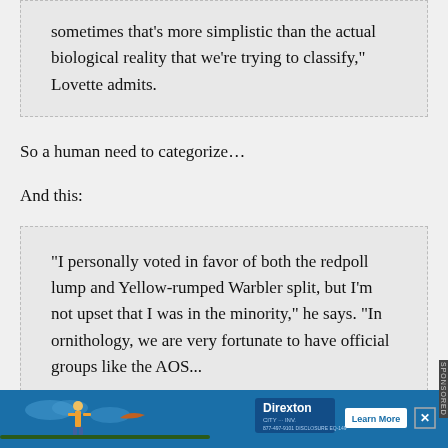sometimes that’s more simplistic than the actual biological reality that we’re trying to classify,” Lovette admits.
So a human need to categorize…
And this:
“I personally voted in favor of both the redpoll lump and Yellow-rumped Warbler split, but I’m not upset that I was in the minority,” he says. “In ornithology, we are very fortunate to have official groups like the AOS...
[Figure (other): Advertisement banner for Direxton with illustration of person and bird on blue background, with Learn More button and close X button]